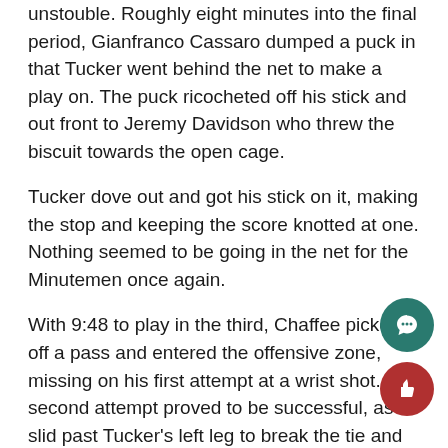unstouble. Roughly eight minutes into the final period, Gianfranco Cassaro dumped a puck in that Tucker went behind the net to make a play on. The puck ricocheted off his stick and out front to Jeremy Davidson who threw the biscuit towards the open cage.
Tucker dove out and got his stick on it, making the stop and keeping the score knotted at one. Nothing seemed to be going in the net for the Minutemen once again.
With 9:48 to play in the third, Chaffee picked off a pass and entered the offensive zone, missing on his first attempt at a wrist shot. His second attempt proved to be successful, as it slid past Tucker's left leg to break the tie and give UMass the 2-1 lead.
“I kind of knew that he was going to try and go cross Chaffee said of the goal. “I swatted it out of mid-air a kind of fanned on the first one, but it ended up going